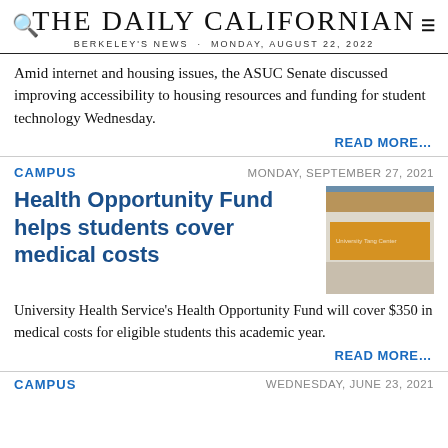THE DAILY CALIFORNIAN · BERKELEY'S NEWS · MONDAY, AUGUST 22, 2022
Amid internet and housing issues, the ASUC Senate discussed improving accessibility to housing resources and funding for student technology Wednesday.
READ MORE…
CAMPUS · MONDAY, SEPTEMBER 27, 2021
Health Opportunity Fund helps students cover medical costs
[Figure (photo): Photo of a building exterior with an orange banner/sign, tiled roof visible at top]
University Health Service's Health Opportunity Fund will cover $350 in medical costs for eligible students this academic year.
READ MORE…
CAMPUS · WEDNESDAY, JUNE 23, 2021